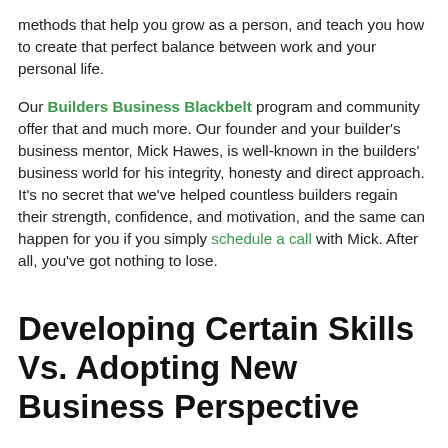methods that help you grow as a person, and teach you how to create that perfect balance between work and your personal life.
Our Builders Business Blackbelt program and community offer that and much more. Our founder and your builder's business mentor, Mick Hawes, is well-known in the builders' business world for his integrity, honesty and direct approach. It's no secret that we've helped countless builders regain their strength, confidence, and motivation, and the same can happen for you if you simply schedule a call with Mick. After all, you've got nothing to lose.
Developing Certain Skills Vs. Adopting New Business Perspective